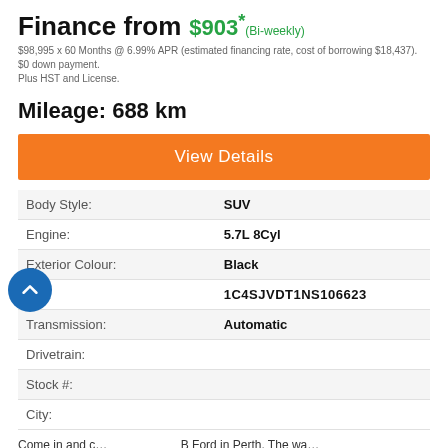Finance from $903* (Bi-weekly)
$98,995 x 60 Months @ 6.99% APR (estimated financing rate, cost of borrowing $18,437). $0 down payment. Plus HST and License.
Mileage: 688 km
View Details
|  |  |
| --- | --- |
| Body Style: | SUV |
| Engine: | 5.7L 8Cyl |
| Exterior Colour: | Black |
| VIN: | 1C4SJVDT1NS106623 |
| Transmission: | Automatic |
| Drivetrain: |  |
| Stock #: |  |
| City: |  |
Come in and ... B Ford in Perth. The wa...
[Figure (other): Chat widget overlay with avatar photo, message 'Any sales questions? Connect with us now!' and two buttons: TEXT and CHAT]